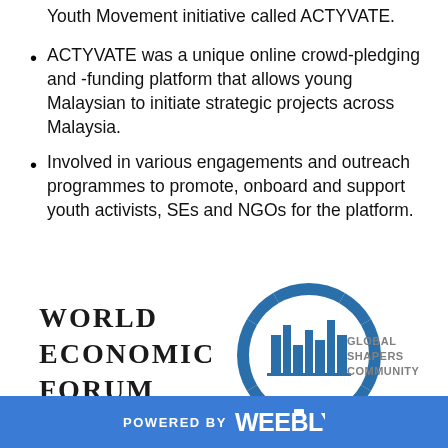Youth Movement initiative called ACTYVATE.
ACTYVATE was a unique online crowd-pledging and -funding platform that allows young Malaysian to initiate strategic projects across Malaysia.
Involved in various engagements and outreach programmes to promote, onboard and support youth activists, SEs and NGOs for the platform.
[Figure (logo): World Economic Forum and Global Shapers Community logos side by side]
POWERED BY weebly